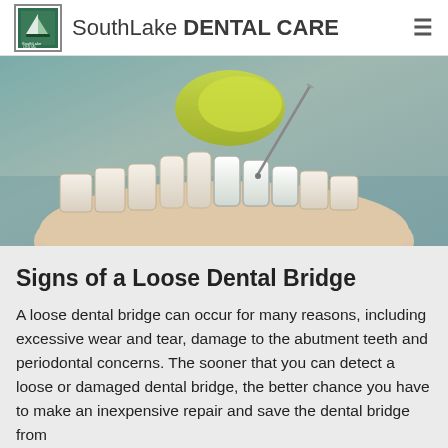SouthLake DENTAL CARE
[Figure (photo): Close-up photo of a dental model showing teeth with a dental crown or bridge being placed, with a dental tool visible. The model is set against a grey-blue background.]
Signs of a Loose Dental Bridge
A loose dental bridge can occur for many reasons, including excessive wear and tear, damage to the abutment teeth and periodontal concerns. The sooner that you can detect a loose or damaged dental bridge, the better chance you have to make an inexpensive repair and save the dental bridge from